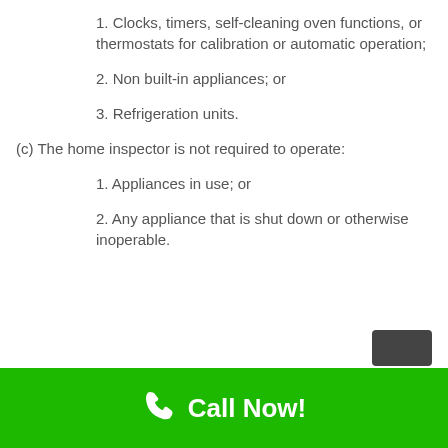1. Clocks, timers, self-cleaning oven functions, or thermostats for calibration or automatic operation;
2. Non built-in appliances; or
3. Refrigeration units.
(c) The home inspector is not required to operate:
1. Appliances in use; or
2. Any appliance that is shut down or otherwise inoperable.
Call Now!